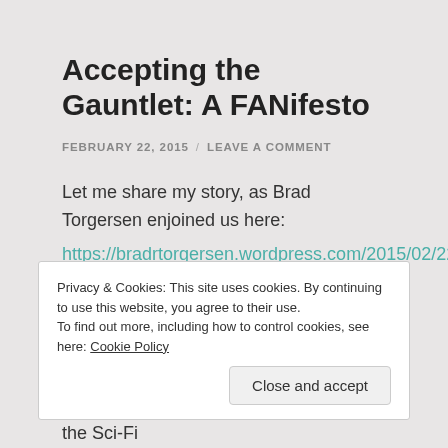Accepting the Gauntlet: A FANifesto
FEBRUARY 22, 2015  /  LEAVE A COMMENT
Let me share my story, as Brad Torgersen enjoined us here:
https://bradrtorgersen.wordpress.com/2015/02/22/my-fanifesto/
Privacy & Cookies: This site uses cookies. By continuing to use this website, you agree to their use.
To find out more, including how to control cookies, see here: Cookie Policy
Close and accept
otherwise. And I actually forgot about the Sci-Fi